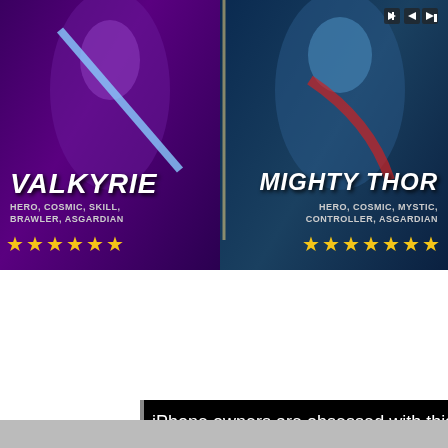[Figure (screenshot): Marvel game advertisement showing two characters: Valkyrie (HERO, COSMIC, SKILL, BRAWLER, ASGARDIAN) with yellow star rating on the left, and Mighty Thor (HERO, COSMIC, MYSTIC, CONTROLLER, ASGARDIAN) with yellow star rating on the right, both on colorful game art backgrounds.]
iPhone owners are obsessed with this Marvel game
Privacy & Cookies: This site uses cookies. By continuing to use this website, you agree to their use.
To find out more, including how to control cookies, see here: Cookie Policy
Close and accept